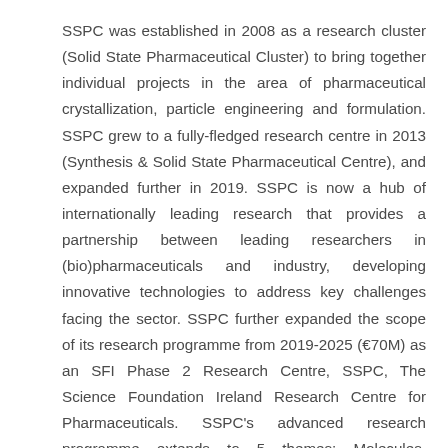SSPC was established in 2008 as a research cluster (Solid State Pharmaceutical Cluster) to bring together individual projects in the area of pharmaceutical crystallization, particle engineering and formulation. SSPC grew to a fully-fledged research centre in 2013 (Synthesis & Solid State Pharmaceutical Centre), and expanded further in 2019. SSPC is now a hub of internationally leading research that provides a partnership between leading researchers in (bio)pharmaceuticals and industry, developing innovative technologies to address key challenges facing the sector. SSPC further expanded the scope of its research programme from 2019-2025 (€70M) as an SFI Phase 2 Research Centre, SSPC, The Science Foundation Ireland Research Centre for Pharmaceuticals. SSPC's advanced research programme extends to 5 themes: Molecules, Materials, Medicines, Manufacturing and Modelling.
SSPC is now looking to appoint a new Director. The